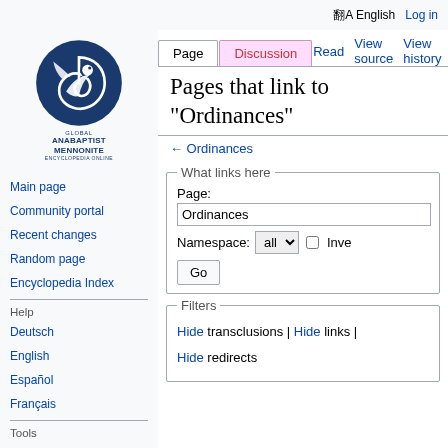English  Log in
[Figure (logo): Global Anabaptist Mennonite Encyclopedia Online logo — dark blue circle with white bird/spiral motif]
Pages that link to "Ordinances"
← Ordinances
What links here
Page: Ordinances
Namespace: all  Inve
Go
Filters
Hide transclusions | Hide links |
Hide redirects
Main page
Community portal
Recent changes
Random page
Encyclopedia Index
Deutsch
English
Español
Français
Special pages